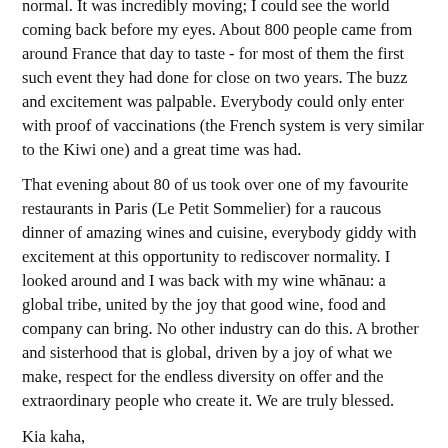normal. It was incredibly moving; I could see the world coming back before my eyes. About 800 people came from around France that day to taste - for most of them the first such event they had done for close on two years. The buzz and excitement was palpable. Everybody could only enter with proof of vaccinations (the French system is very similar to the Kiwi one) and a great time was had.
That evening about 80 of us took over one of my favourite restaurants in Paris (Le Petit Sommelier) for a raucous dinner of amazing wines and cuisine, everybody giddy with excitement at this opportunity to rediscover normality. I looked around and I was back with my wine whānau: a global tribe, united by the joy that good wine, food and company can bring. No other industry can do this. A brother and sisterhood that is global, driven by a joy of what we make, respect for the endless diversity on offer and the extraordinary people who create it. We are truly blessed.
Kia kaha,
Nigel
Nigel is owner of Felton Road. See more at longbrookluthiery.com